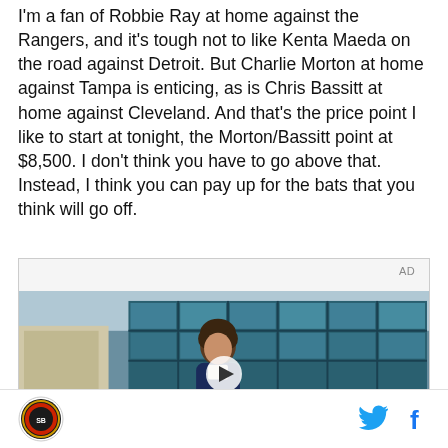I'm a fan of Robbie Ray at home against the Rangers, and it's tough not to like Kenta Maeda on the road against Detroit. But Charlie Morton at home against Tampa is enticing, as is Chris Bassitt at home against Cleveland. And that's the price point I like to start at tonight, the Morton/Bassitt point at $8,500. I don't think you have to go above that. Instead, I think you can pay up for the bats that you think will go off.
[Figure (other): Advertisement video player showing a young man in front of a building with teal glass windows. Overlay text reads 'Unfold your world'. AD label in upper right.]
Site logo | Twitter icon | Facebook icon